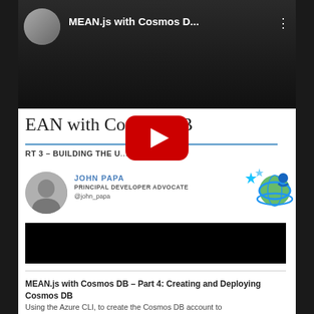[Figure (screenshot): YouTube video thumbnail showing MEAN.js with Cosmos D... title with avatar and three-dot menu]
EAN with Cosmos DB
RT 3 – BUILDING THE U...GULAR
[Figure (photo): Circular headshot of John Papa]
JOHN PAPA
PRINCIPAL DEVELOPER ADVOCATE
@john_papa
[Figure (logo): Azure/Microsoft logo with stars and globe]
[Figure (screenshot): Black video area (second video thumbnail)]
[Figure (logo): YouTube play button overlay]
MEAN.js with Cosmos DB – Part 4: Creating and Deploying Cosmos DB
Using the Azure CLI, to create the Cosmos DB account to